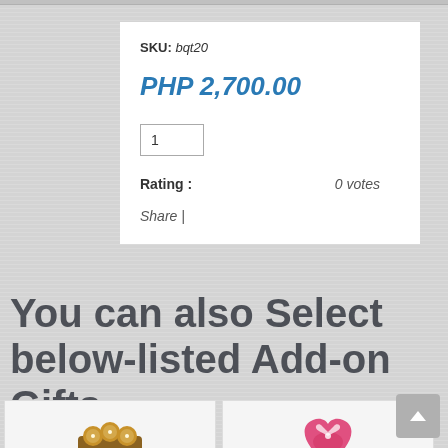SKU: bqt20
PHP 2,700.00
1
Rating : 0 votes
Share |
You can also Select below-listed Add-on Gifts
[Figure (photo): Ferrero Rocher chocolate box add-on gift]
[Figure (photo): Pink heart-shaped gift box add-on]